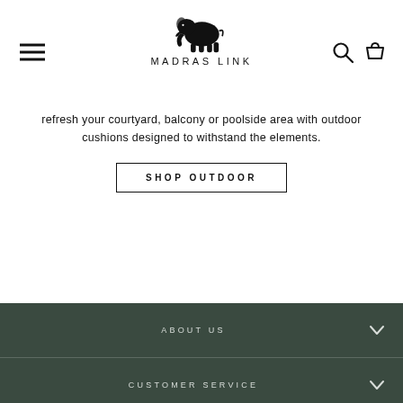[Figure (logo): Madras Link logo: black elephant silhouette above the text MADRAS LINK]
refresh your courtyard, balcony or poolside area with outdoor cushions designed to withstand the elements.
SHOP OUTDOOR
ABOUT US
CUSTOMER SERVICE
EXPLORE
SIGN UP AND SAVE